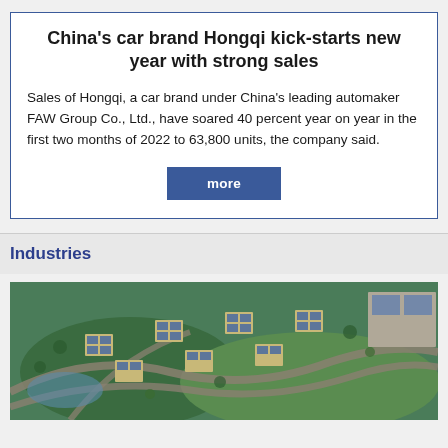China's car brand Hongqi kick-starts new year with strong sales
Sales of Hongqi, a car brand under China's leading automaker FAW Group Co., Ltd., have soared 40 percent year on year in the first two months of 2022 to 63,800 units, the company said.
more
Industries
[Figure (photo): Aerial view of industrial or residential area with green grounds, curved roads, and multiple small buildings with solar panels on rooftops]